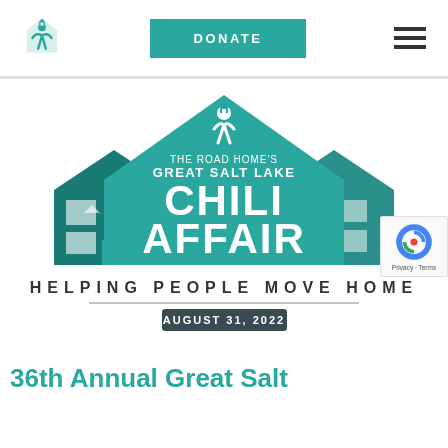Logo | DONATE | Hamburger menu
[Figure (illustration): The Road Home's Great Salt Lake Chili Affair event logo — illustrated teal house shapes with text 'THE ROAD HOME'S GREAT SALT LAKE CHILI AFFAIR' and tagline 'HELPING PEOPLE MOVE HOME' and date 'AUGUST 31, 2022']
36th Annual Great Salt